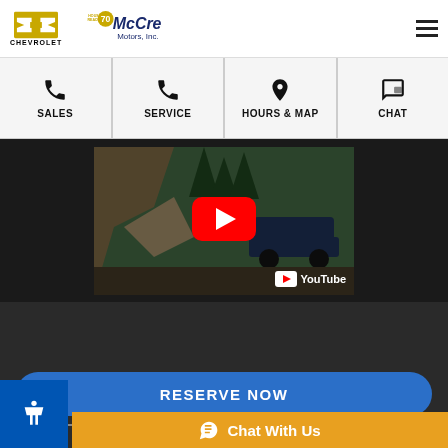CHEVROLET — McCredy Motors, Inc.
SALES
SERVICE
HOURS & MAP
CHAT
[Figure (screenshot): YouTube video embed thumbnail showing a Chevrolet truck on a rocky mountain trail with a red YouTube play button overlay and YouTube logo in bottom right corner]
RESERVE NOW
VEHICLE DETAILS ON CHEVY.COM
Chat With Us